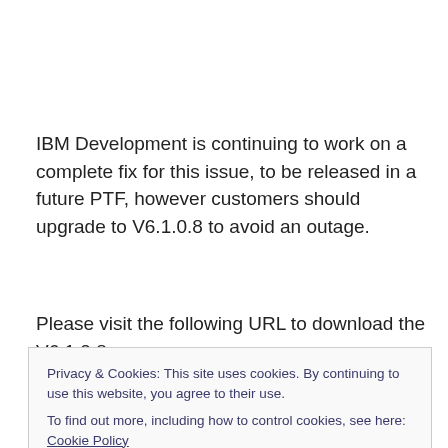IBM Development is continuing to work on a complete fix for this issue, to be released in a future PTF, however customers should upgrade to V6.1.0.8 to avoid an outage.
Please visit the following URL to download the V6.1.0.8
Privacy & Cookies: This site uses cookies. By continuing to use this website, you agree to their use. To find out more, including how to control cookies, see here: Cookie Policy
Close and accept